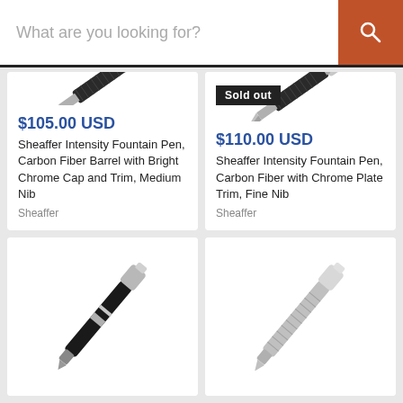What are you looking for?
[Figure (photo): Sheaffer Intensity fountain pen with carbon fiber barrel and bright chrome cap, nib visible, angled view]
$105.00 USD
Sheaffer Intensity Fountain Pen, Carbon Fiber Barrel with Bright Chrome Cap and Trim, Medium Nib
Sheaffer
[Figure (photo): Sheaffer Intensity fountain pen with carbon fiber barrel and chrome plate trim, fine nib, angled view, with 'Sold out' badge]
$110.00 USD
Sheaffer Intensity Fountain Pen, Carbon Fiber with Chrome Plate Trim, Fine Nib
Sheaffer
[Figure (photo): Sheaffer pen with black and chrome barrel, angled view from below]
[Figure (photo): Sheaffer pen with all-chrome/silver barrel, angled view]